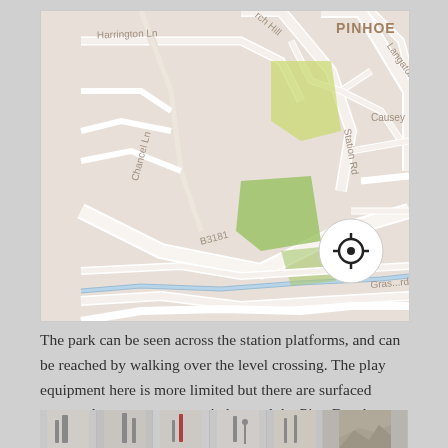[Figure (map): Street map of Pinhoe area showing Harrington Ln, Chancel Ln, B3181, Station Rd, Langaton, Causey, Grasslands, with green park areas and Pinhoe railway station marker. A location crosshair button appears in the bottom right of the map.]
The park can be seen across the station platforms, and can be reached by walking over the level crossing. The play equipment here is more limited but there are surfaced courts, skate ramps, grass pitches and the Pinn Brook too.
[Figure (photo): A partial photo strip at the bottom of the page showing what appears to be park equipment and trees.]